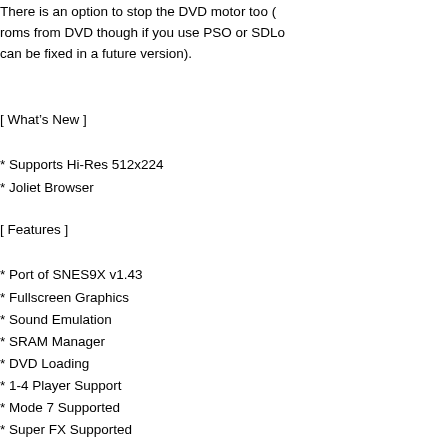There is an option to stop the DVD motor too (roms from DVD though if you use PSO or SDLo can be fixed in a future version).
[ What's New ]
* Supports Hi-Res 512x224
* Joliet Browser
[ Features ]
* Port of SNES9X v1.43
* Fullscreen Graphics
* Sound Emulation
* SRAM Manager
* DVD Loading
* 1-4 Player Support
* Mode 7 Supported
* Super FX Supported
* SDD1, SRTC, SA-1 Supported
* DSP1 & DSP2 Supported
* Partial DSP4 Support
* WIN32 & Linux Binaries
Download Here --> http://gcemu.dcemu.co.uk/
To read more of the post and Download, cli